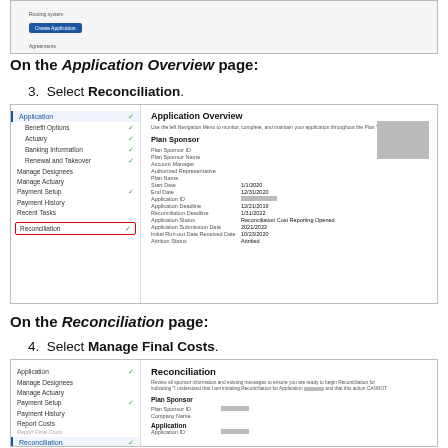[Figure (screenshot): Top cropped screenshot showing a web application interface with a blue button]
On the Application Overview page:
3. Select Reconciliation.
[Figure (screenshot): Application Overview page screenshot showing left navigation menu with Reconciliation highlighted in red box, and right side showing Plan Sponsor details with fields like Plan Sponsor ID, Plan Sponsor Name, Account Manager, etc.]
On the Reconciliation page:
4. Select Manage Final Costs.
[Figure (screenshot): Reconciliation page screenshot showing left navigation menu with Reconciliation section highlighted and Finalize Common Release item in red box, and right side showing Reconciliation content with Plan Sponsor section]